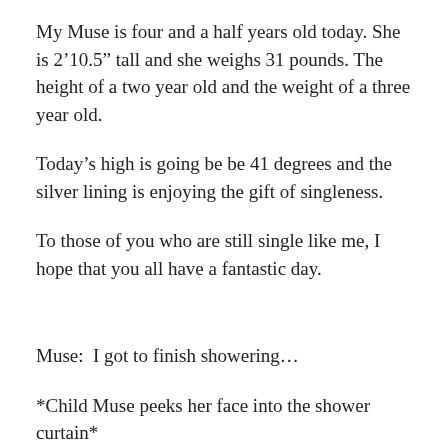My Muse is four and a half years old today. She is 2’10.5″ tall and she weighs 31 pounds. The height of a two year old and the weight of a three year old.
Today’s high is going be be 41 degrees and the silver lining is enjoying the gift of singleness.
To those of you who are still single like me, I hope that you all have a fantastic day.
Muse:  I got to finish showering…
*Child Muse peeks her face into the shower curtain*